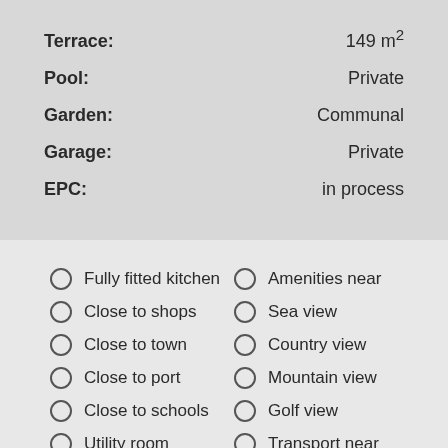| Property | Value |
| --- | --- |
| Terrace: | 149 m² |
| Pool: | Private |
| Garden: | Communal |
| Garage: | Private |
| EPC: | in process |
Fully fitted kitchen
Amenities near
Close to shops
Sea view
Close to town
Country view
Close to port
Mountain view
Close to schools
Golf view
Utility room
Transport near
Pets allowed
Internet - Wifi